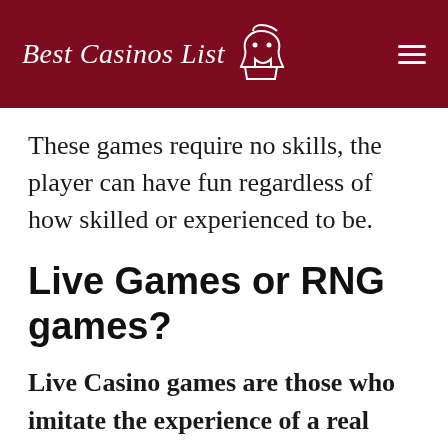Best Casinos List
These games require no skills, the player can have fun regardless of how skilled or experienced to be.
Live Games or RNG games?
Live Casino games are those who imitate the experience of a real physical casinoEven in the chances of gain - unlike online games that depend on the RNG mechanism to ensure your randomness.